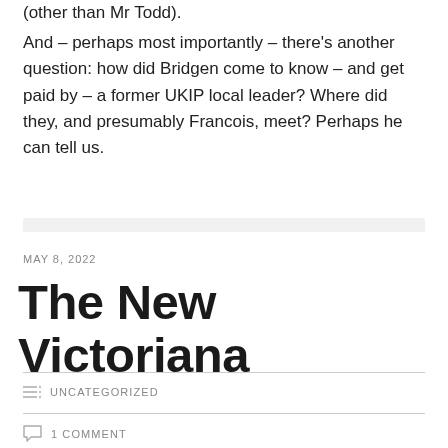(other than Mr Todd).
And – perhaps most importantly – there's another question: how did Bridgen come to know – and get paid by – a former UKIP local leader? Where did they, and presumably Francois, meet? Perhaps he can tell us.
MAY 8, 2022
The New Victoriana
UNCATEGORIZED
1 COMMENT